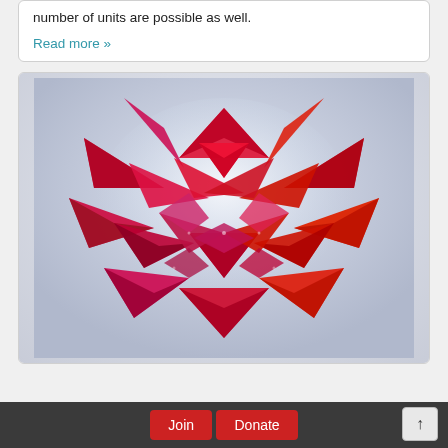number of units are possible as well.
Read more »
[Figure (photo): A spherical kusudama origami model made from red and magenta/pink paper units, photographed against a white background. The ball-shaped modular origami consists of many pointed petal-like units assembled together.]
Join   Donate